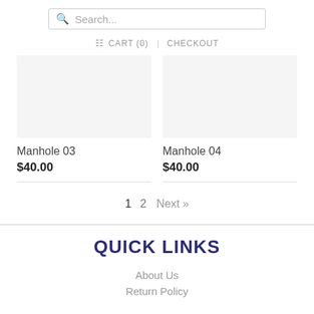Search...
CART (0)  CHECKOUT
Manhole 03
$40.00
Manhole 04
$40.00
1  2  Next »
QUICK LINKS
About Us
Return Policy